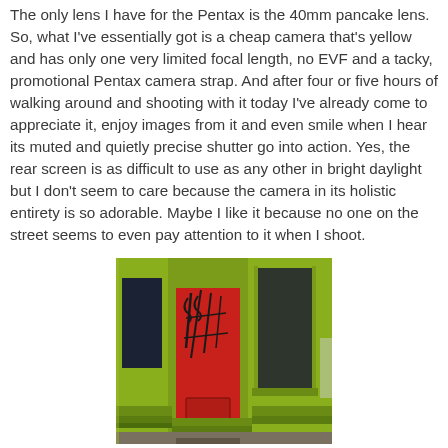The only lens I have for the Pentax is the 40mm pancake lens. So, what I've essentially got is a cheap camera that's yellow and has only one very limited focal length, no EVF and a tacky, promotional Pentax camera strap. And after four or five hours of walking around and shooting with it today I've already come to appreciate it, enjoy images from it and even smile when I hear its muted and quietly precise shutter go into action. Yes, the rear screen is as difficult to use as any other in bright daylight but I don't seem to care because the camera in its holistic entirety is so adorable. Maybe I like it because no one on the street seems to even pay attention to it when I shoot.
[Figure (photo): Street-level photograph of a storefront with lime green painted woodwork and a bright red door with ornate black ironwork. The door is flanked by large windows set in green frames. The scene is brightly lit with vivid colors.]